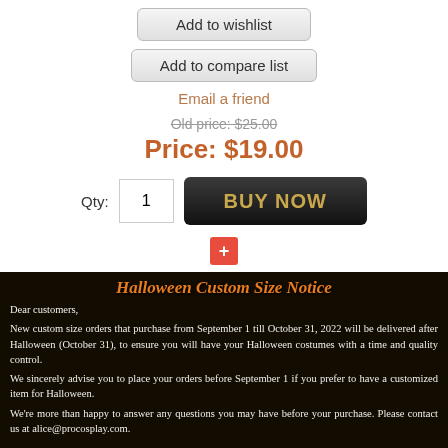Add to wishlist
Add to compare list
Email a friend
Old price: $25.00
Price: $19.00
Qty: 1  BUY NOW
[Figure (other): Red plus button icon]
[Figure (infographic): Halloween Custom Size Notice banner with dark background. Title: 'Halloween Custom Size Notice'. Body text: Dear customers, New custom size orders that purchase from September 1 till October 31, 2022 will be delivered after Halloween (October 31), to ensure you will have your Halloween costumes with a time and quality control. We sincerely advise you to place your orders before September 1 if you prefer to have a customized item for Halloween. We're more than happy to answer any questions you may have before your purchase. Please contact us at alice@procosplay.com.]